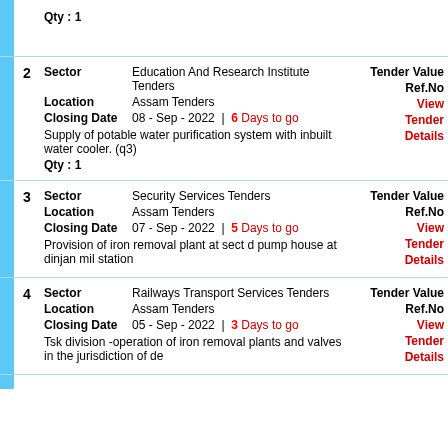Qty : 1
2 | Sector: Education And Research Institute Tenders | Location: Assam Tenders | Tender Value | Ref.No | Closing Date: 08 - Sep - 2022 | 6 Days to go | Supply of potable water purification system with inbuilt water cooler. (q3) Qty : 1
3 | Sector: Security Services Tenders | Location: Assam Tenders | Tender Value | Ref.No | Closing Date: 07 - Sep - 2022 | 5 Days to go | Provision of iron removal plant at sect d pump house at dinjan mil station
4 | Sector: Railways Transport Services Tenders | Location: Assam Tenders | Tender Value | Ref.No | Closing Date: 05 - Sep - 2022 | 3 Days to go | Tsk division -operation of iron removal plants and valves in the jurisdiction of de